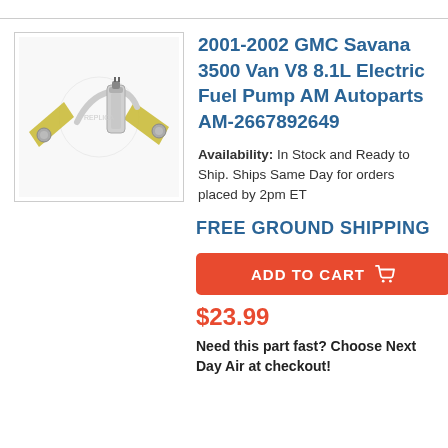[Figure (photo): Electric fuel pump part product image showing a cylindrical pump component with yellow mounting brackets and small bolts on a white background]
2001-2002 GMC Savana 3500 Van V8 8.1L Electric Fuel Pump AM Autoparts AM-2667892649
Availability: In Stock and Ready to Ship. Ships Same Day for orders placed by 2pm ET
FREE GROUND SHIPPING
ADD TO CART
$23.99
Need this part fast? Choose Next Day Air at checkout!